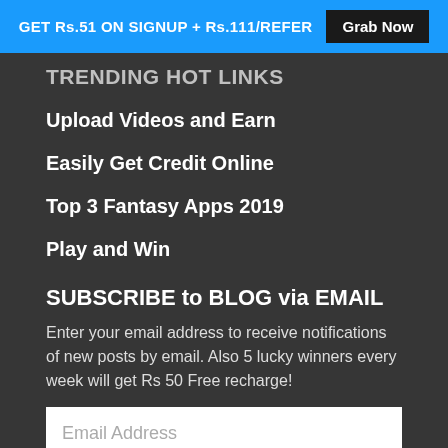GET Rs.51 ON SIGNUP + Rs.111/REFER  Grab Now
TRENDING HOT LINKS
Upload Videos and Earn
Easily Get Credit Online
Top 3 Fantasy Apps 2019
Play and Win
SUBSCRIBE to BLOG via EMAIL
Enter your email address to receive notifications of new posts by email. Also 5 lucky winners every week will get Rs 50 Free recharge!
Email Address